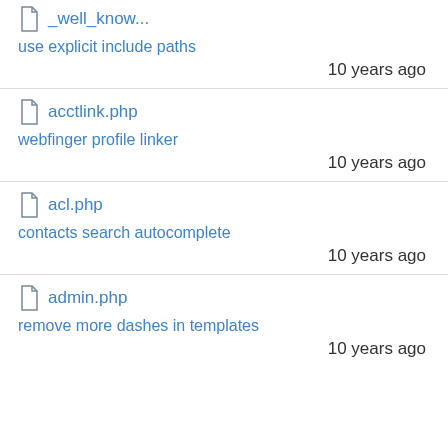_well_know...
use explicit include paths
10 years ago
acctlink.php
webfinger profile linker
10 years ago
acl.php
contacts search autocomplete
10 years ago
admin.php
remove more dashes in templates
10 years ago